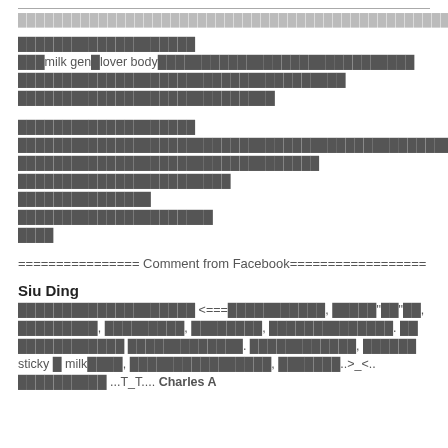████████████████████████████████████████████████
████████████████████
███milk gen█lover body█████████████████████████████
█████████████████████████████████████
█████████████████████████████
████████████████████
████████████████████████████████████████████████████████████████████████████████████
██████████████████████████████████
████████████████████████
███████████████
██████████████████████
████
================ Comment from Facebook==================
Siu Ding
████████████████████ <===███████████, █████"██"██, █████████, █████████, ████████, ██████████████. ██ ████████████ █████████████. ████████████, ██████ sticky █ milk████, ████████████████, ███████..>_<.. ██████████ ...T_T.... Charles A